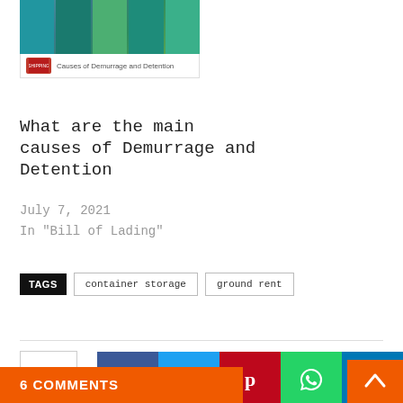[Figure (photo): Article thumbnail showing shipping containers with a label 'Causes of Demurrage and Detention']
What are the main causes of Demurrage and Detention
July 7, 2021
In "Bill of Lading"
TAGS   container storage   ground rent
[Figure (infographic): Social share buttons: Facebook, Twitter, Pinterest, WhatsApp, LinkedIn]
6 COMMENTS